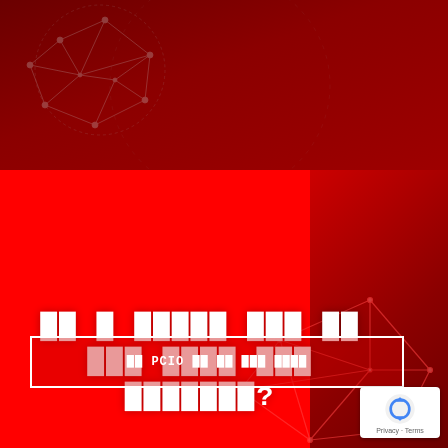[Figure (illustration): Red themed cybersecurity/technology promotional page with network polygon graphics in the top area and bottom right, a bright red center panel, large redacted/pixelated white title text, a white-bordered call-to-action button with redacted text, and a reCAPTCHA badge in the bottom right corner.]
██ █ █████ ███ ██ ███ ████ ███ ███████?
██ PCIO ██ ██ ███ ████
[Figure (logo): Google reCAPTCHA badge with blue circular arrow logo, showing Privacy and Terms links]